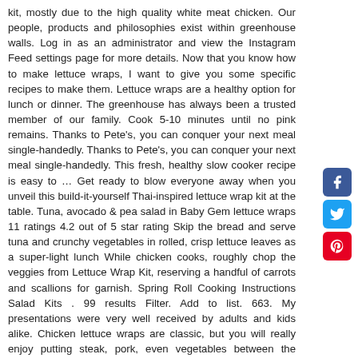kit, mostly due to the high quality white meat chicken. Our people, products and philosophies exist within greenhouse walls. Log in as an administrator and view the Instagram Feed settings page for more details. Now that you know how to make lettuce wraps, I want to give you some specific recipes to make them. Lettuce wraps are a healthy option for lunch or dinner. The greenhouse has always been a trusted member of our family. Cook 5-10 minutes until no pink remains. Thanks to Pete's, you can conquer your next meal single-handedly. Thanks to Pete's, you can conquer your next meal single-handedly. This fresh, healthy slow cooker recipe is easy to … Get ready to blow everyone away when you unveil this build-it-yourself Thai-inspired lettuce wrap kit at the table. Tuna, avocado & pea salad in Baby Gem lettuce wraps 11 ratings 4.2 out of 5 star rating Skip the bread and serve tuna and crunchy vegetables in rolled, crisp lettuce leaves as a super-light lunch While chicken cooks, roughly chop the veggies from Lettuce Wrap Kit, reserving a handful of carrots and scallions for garnish. Spring Roll Cooking Instructions Salad Kits . 99 results Filter. Add to list. 663. My presentations were very well received by adults and kids alike. Chicken lettuce wraps are classic, but you will really enjoy putting steak, pork, even vegetables between the delicate lettuce leaves. Create a favorite restaurant treat right at home with these savory and sweet Thai lettuce wraps. Heat oil in a large skillet over medium high heat, about 2-3 minutes. Add carrot, celery, garlic and ginger and cook until fragrant. #Eat. There's nothing better than a
[Figure (other): Facebook social share button (blue square with white 'f' icon)]
[Figure (other): Twitter social share button (light blue square with white bird icon)]
[Figure (other): Pinterest social share button (red square with white 'p' icon)]